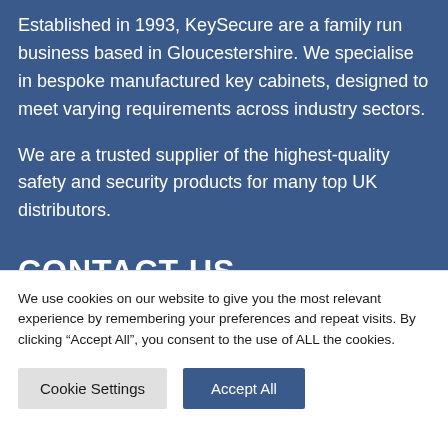Established in 1993, KeySecure are a family run business based in Gloucestershire. We specialise in bespoke manufactured key cabinets, designed to meet varying requirements across industry sectors.
We are a trusted supplier of the highest-quality safety and security products for many top UK distributors.
CONTACT US
We use cookies on our website to give you the most relevant experience by remembering your preferences and repeat visits. By clicking “Accept All”, you consent to the use of ALL the cookies.